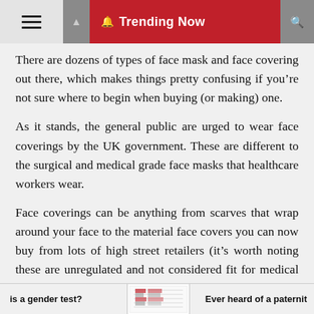Trending Now
There are dozens of types of face mask and face covering out there, which makes things pretty confusing if you’re not sure where to begin when buying (or making) one.
As it stands, the general public are urged to wear face coverings by the UK government. These are different to the surgical and medical grade face masks that healthcare workers wear.
Face coverings can be anything from scarves that wrap around your face to the material face covers you can now buy from lots of high street retailers (it’s worth noting these are unregulated and not considered fit for medical use).
The key rule of wearing a face covering is that it must cover your nose and mouth to work properly. It should
is a gender test? — Ever heard of a paternit